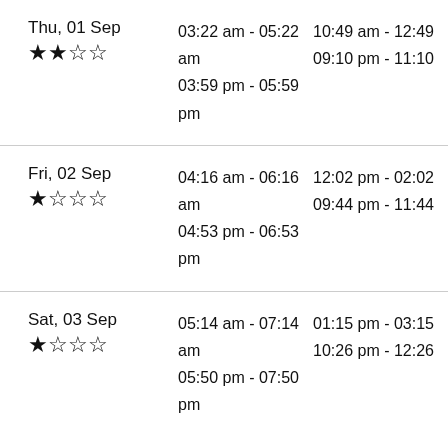| Date | Time Slot 1 | Time Slot 2 |
| --- | --- | --- |
| Thu, 01 Sep ★★☆☆ | 03:22 am - 05:22 am | 10:49 am - 12:49 |
|  | 03:59 pm - 05:59 pm | 09:10 pm - 11:10 |
| Fri, 02 Sep ★☆☆☆ | 04:16 am - 06:16 am | 12:02 pm - 02:02 |
|  | 04:53 pm - 06:53 pm | 09:44 pm - 11:44 |
| Sat, 03 Sep ★☆☆☆ | 05:14 am - 07:14 am | 01:15 pm - 03:15 |
|  | 05:50 pm - 07:50 pm | 10:26 pm - 12:26 |